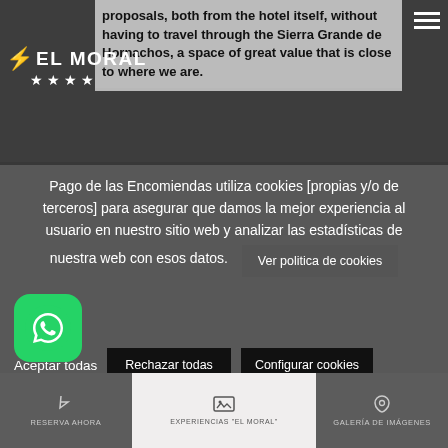proposals, both from the hotel itself, without having to travel through the Sierra Grande de Hornachos, a space of great value that is close to where we are.
[Figure (logo): El Moral hotel logo with lightning bolt and four stars]
Pago de las Encomiendas utiliza cookies [propias y/o de terceros] para asegurar que damos la mejor experiencia al usuario en nuestro sitio web y analizar las estadísticas de nuestra web con esos datos.
Ver politica de cookies
Aceptar todas
Rechazar todas
Configurar cookies
[Figure (other): WhatsApp green icon button]
RESERVA AHORA | EXPERIENCIAS "EL MORAL" | GALERÍA DE IMÁGENES